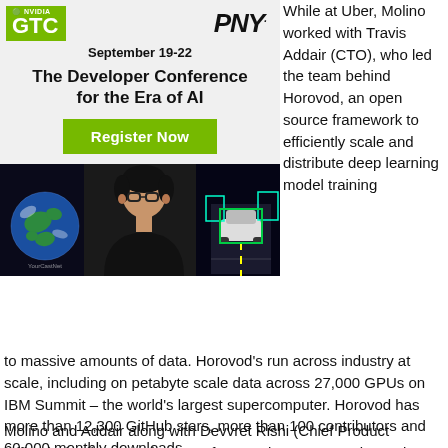[Figure (advertisement): NVIDIA GTC and PNY advertisement banner for 'The Developer Conference for the Era of AI', September 19-22, with Register Now button and three images: Earth globe, person in black jacket, autonomous vehicle on road]
While at Uber, Molino worked with Travis Addair (CTO), who led the team behind Horovod, an open source framework to efficiently scale and distribute deep learning model training to massive amounts of data. Horovod's run across industry at scale, including on petabyte scale data across 27,000 GPUs on IBM Summit – the world's largest supercomputer. Horovod has more than 12,300 GitHub stars, more than 100 contributors and 60,000 monthly downloads.
Molino and Addair along with Devvret Rishi (Chief Product Officer), the first Google AI PM for Kaggle – an open data science platform